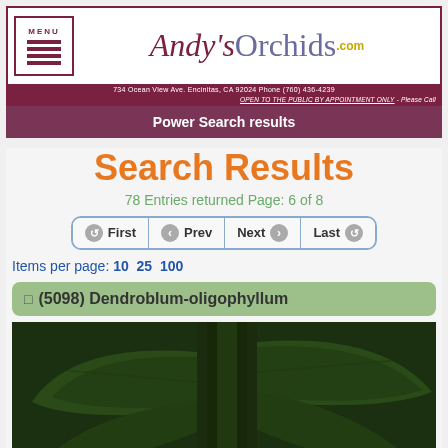[Figure (logo): Andy's Orchids website logo with menu icon, script logo text, address bar and open by appointment notice]
Power Search results
Search Results
78 Entries returned Page: 6 of 8
First  Prev  Next  Last
Items per page: 10  25  100
(5098) Dendroblum-oligophyllum
[Figure (photo): Close-up photo of green orchid plant leaves and stems]